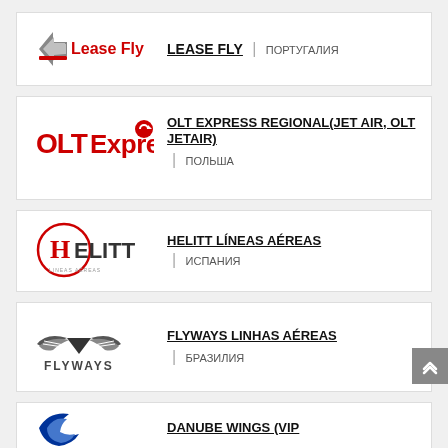[Figure (logo): Lease Fly logo with red arrow icon and red/grey text]
LEASE FLY | ПОРТУГАЛИЯ
[Figure (logo): OLT Express logo in red with circular arrow icon]
OLT EXPRESS REGIONAL(JET AIR, OLT JETAIR) | ПОЛЬША
[Figure (logo): Helitt Líneas Aéreas logo in red circular design]
HELITT LÍNEAS AÉREAS | ИСПАНИЯ
[Figure (logo): Flyways logo with eagle wings in grey]
FLYWAYS LINHAS AÉREAS | БРАЗИЛИЯ
[Figure (logo): Danube Wings logo partially visible]
DANUBE WINGS (VIP...